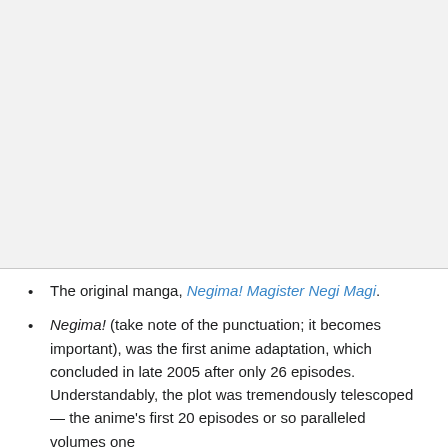[Figure (other): Large image area (top portion of page, content not visible — gray background placeholder)]
The original manga, Negima! Magister Negi Magi.
Negima! (take note of the punctuation; it becomes important), was the first anime adaptation, which concluded in late 2005 after only 26 episodes. Understandably, the plot was tremendously telescoped — the anime's first 20 episodes or so paralleled volumes one